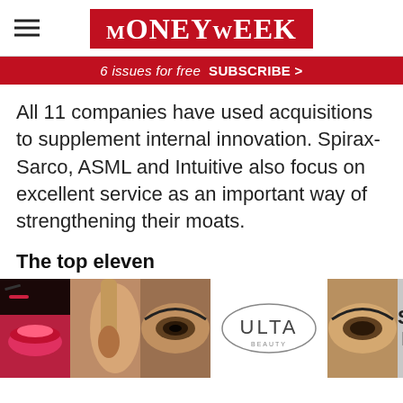MoneyWeek
6 issues for free   SUBSCRIBE >
All 11 companies have used acquisitions to supplement internal innovation. Spirax-Sarco, ASML and Intuitive also focus on excellent service as an important way of strengthening their moats.
The top eleven
Amazon started as an online bookstore in 1994, but expanded into online sales of
[Figure (photo): Ulta Beauty advertisement banner with cosmetics photos and 'SHOP NOW' call to action]